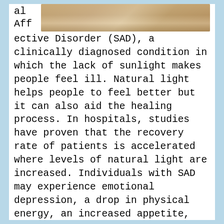[Figure (photo): A partial photo of an interior room, likely showing wooden furniture or cabinets, visible at the top right of the page.]
al Affective Disorder (SAD), a clinically diagnosed condition in which the lack of sunlight makes people feel ill. Natural light helps people to feel better but it can also aid the healing process. In hospitals, studies have proven that the recovery rate of patients is accelerated where levels of natural light are increased. Individuals with SAD may experience emotional depression, a drop in physical energy, an increased appetite, and an increased need for sleep. Lack of sufficient daylight is directly linked to SAD.
Are there older adults in your home? Researchers McFarland and Fisher report that to accommodate the adaptation of the aging eye, the amount of light required for